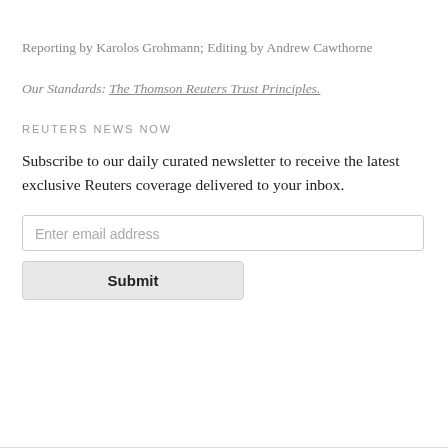Reporting by Karolos Grohmann; Editing by Andrew Cawthorne
Our Standards: The Thomson Reuters Trust Principles.
REUTERS NEWS NOW
Subscribe to our daily curated newsletter to receive the latest exclusive Reuters coverage delivered to your inbox.